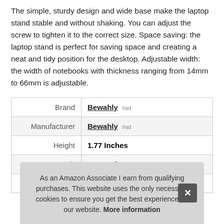The simple, sturdy design and wide base make the laptop stand stable and without shaking. You can adjust the screw to tighten it to the correct size. Space saving: the laptop stand is perfect for saving space and creating a neat and tidy position for the desktop. Adjustable width: the width of notebooks with thickness ranging from 14mm to 66mm is adjustable.
|  |  |
| --- | --- |
| Brand | Bewahly #ad |
| Manufacturer | Bewahly #ad |
| Height | 1.77 Inches |
| Length | 5.91 Inches |
| P |  |
As an Amazon Associate I earn from qualifying purchases. This website uses the only necessary cookies to ensure you get the best experience on our website. More information